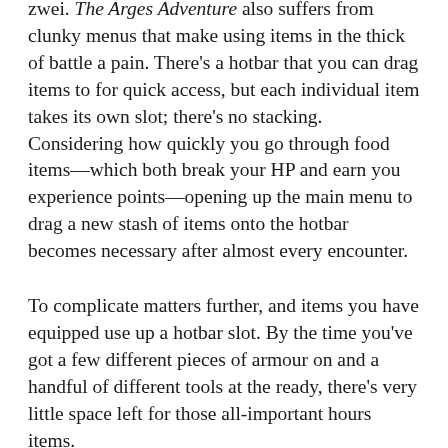zwei. The Arges Adventure also suffers from clunky menus that make using items in the thick of battle a pain. There's a hotbar that you can drag items to for quick access, but each individual item takes its own slot; there's no stacking. Considering how quickly you go through food items—which both break your HP and earn you experience points—opening up the main menu to drag a new stash of items onto the hotbar becomes necessary after almost every encounter.
To complicate matters further, and items you have equipped use up a hotbar slot. By the time you've got a few different pieces of armour on and a handful of different tools at the ready, there's very little space left for those all-important hours items.
The food-equals-experience is still a neat touch, but it